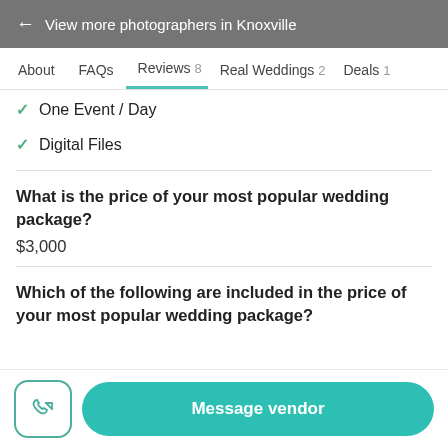← View more photographers in Knoxville
About  FAQs  Reviews 8  Real Weddings 2  Deals 1
✓ One Event / Day
✓ Digital Files
What is the price of your most popular wedding package?
$3,000
Which of the following are included in the price of your most popular wedding package?
Message vendor